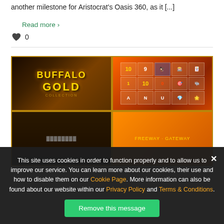another milestone for Aristocrat's Oasis 360, as it [...]
Read more ›
♥ 0
[Figure (photo): Casino slot machines showing Buffalo Gold and another slot game with reel displays]
This site uses cookies in order to function properly and to allow us to improve our service. You can learn more about our cookies, their use and how to disable them on our Cookie Page. More information can also be found about our website within our Privacy Policy and Terms & Conditions.
Remove this message